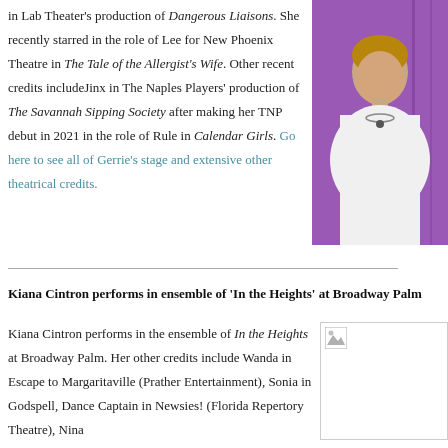in Lab Theater's production of Dangerous Liaisons. She recently starred in the role of Lee for New Phoenix Theatre in The Tale of the Allergist's Wife. Other recent credits includeJinx in The Naples Players' production of The Savannah Sipping Society after making her TNP debut in 2021 in the role of Rule in Calendar Girls. Go here to see all of Gerrie's stage and extensive other theatrical credits.
[Figure (photo): Portrait photo of a woman against a purple background, wearing a white top and necklace]
Kiana Cintron performs in ensemble of 'In the Heights' at Broadway Palm
Kiana Cintron performs in the ensemble of In the Heights at Broadway Palm. Her other credits include Wanda in Escape to Margaritaville (Prather Entertainment), Sonia in Godspell, Dance Captain in Newsies! (Florida Repertory Theatre), Nina
[Figure (photo): Small placeholder image icon]